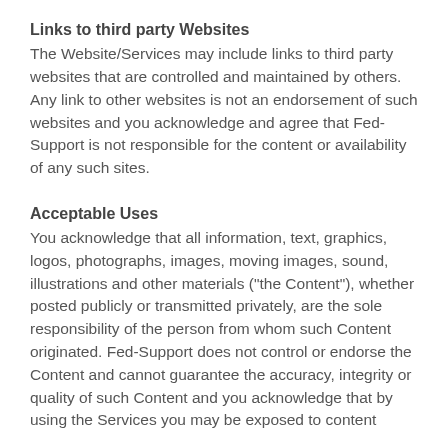Links to third party Websites
The Website/Services may include links to third party websites that are controlled and maintained by others. Any link to other websites is not an endorsement of such websites and you acknowledge and agree that Fed-Support is not responsible for the content or availability of any such sites.
Acceptable Uses
You acknowledge that all information, text, graphics, logos, photographs, images, moving images, sound, illustrations and other materials ("the Content"), whether posted publicly or transmitted privately, are the sole responsibility of the person from whom such Content originated. Fed-Support does not control or endorse the Content and cannot guarantee the accuracy, integrity or quality of such Content and you acknowledge that by using the Services you may be exposed to content